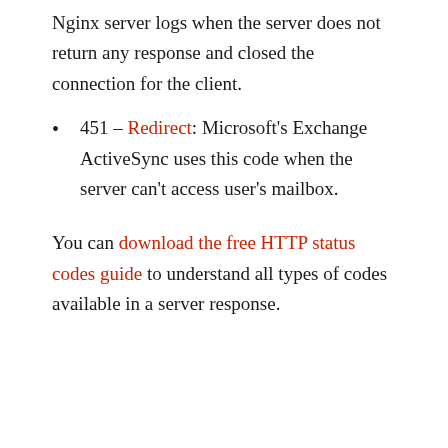Nginx server logs when the server does not return any response and closed the connection for the client.
451 – Redirect: Microsoft's Exchange ActiveSync uses this code when the server can't access user's mailbox.
You can download the free HTTP status codes guide to understand all types of codes available in a server response.